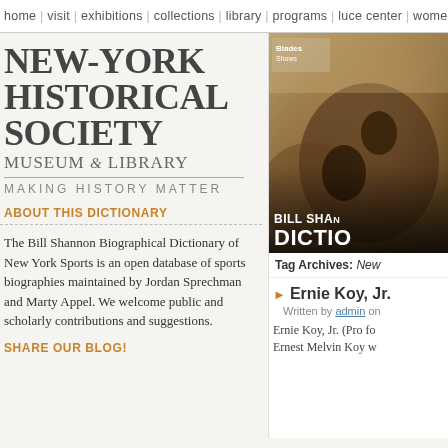home | visit | exhibitions | collections | library | programs | luce center | wome
NEW-YORK HISTORICAL SOCIETY MUSEUM & LIBRARY
MAKING HISTORY MATTER
ABOUT THIS DICTIONARY
The Bill Shannon Biographical Dictionary of New York Sports is an open database of sports biographies maintained by Jordan Sprechman and Marty Appel. We welcome public and scholarly contributions and suggestions.
SHARE OUR BLOG!
[Figure (photo): Sepia-toned historical sports photograph with text overlay reading 'BILL SHA... DICTIO...' (Bill Shannon Dictionary)]
Tag Archives: New
Ernie Koy, Jr.
Written by admin on
Ernie Koy, Jr. (Pro fo Ernest Melvin Koy w